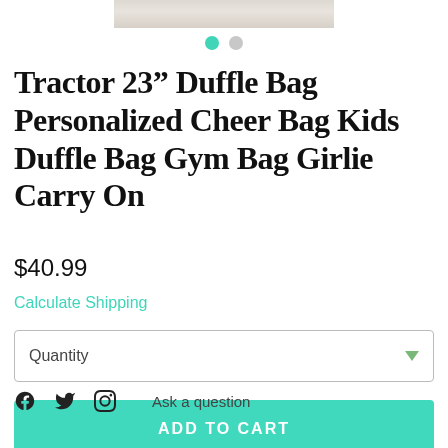[Figure (photo): Partial product image strip at the top of the page showing a light wood-grain textured background]
[Figure (other): Two circular navigation dots: one teal/active and one gray/inactive]
Tractor 23” Duffle Bag Personalized Cheer Bag Kids Duffle Bag Gym Bag Girlie Carry On
$40.99
Calculate Shipping
Quantity
ADD TO CART
Ask a question